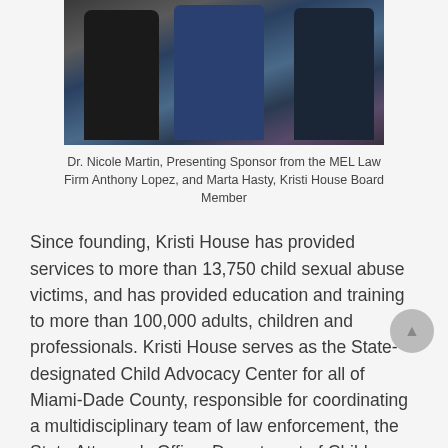[Figure (photo): Three people posing together at an event: a woman in black on the left, a man in a blue suit in the center holding a drink, and a woman in a teal/blue patterned dress on the right.]
Dr. Nicole Martin, Presenting Sponsor from the MEL Law Firm Anthony Lopez, and Marta Hasty, Kristi House Board Member
Since founding, Kristi House has provided services to more than 13,750 child sexual abuse victims, and has provided education and training to more than 100,000 adults, children and professionals. Kristi House serves as the State-designated Child Advocacy Center for all of Miami-Dade County, responsible for coordinating a multidisciplinary team of law enforcement, the State Attorney's Office, Department of Children and